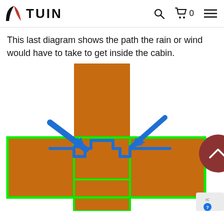TUIN
This last diagram shows the path the rain or wind would have to take to get inside the cabin.
[Figure (engineering-diagram): Cross-section diagram of a cabin log joint. Two brown/orange rectangular timber pieces cross each other (one vertical, one horizontal). A green outline highlights the joint perimeter. A blue stepped profile line shows the interlocking notch shape at the junction, with two large blue arrows pointing to the notch area to indicate the path rain/wind would need to travel to enter the cabin.]